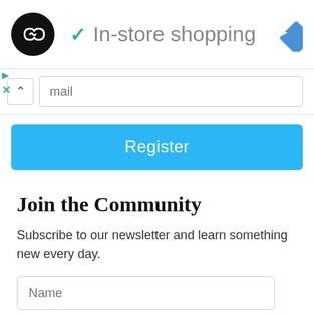[Figure (logo): Black circular logo with two overlapping arrow symbols (infinity/loop style) in white, next to a teal checkmark and 'In-store shopping' text in gray. Blue diamond navigation icon on the right.]
In-store shopping
[Figure (screenshot): Search/email input field with up chevron button on the left and a text input showing placeholder 'mail']
Register
Join the Community
Subscribe to our newsletter and learn something new every day.
Name